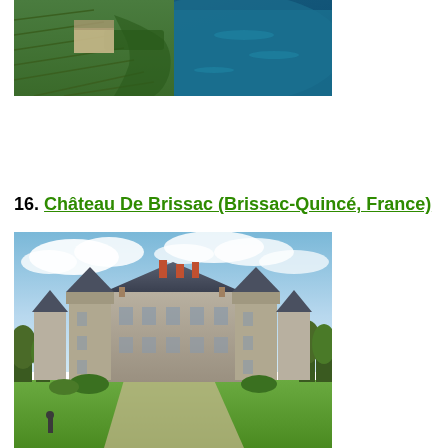[Figure (photo): Aerial view of a French chateau estate surrounded by vineyards and a river]
Search Flights to Europe
16. Château De Brissac (Brissac-Quincé, France)
[Figure (photo): Front view of Château De Brissac, a large French Renaissance castle with multiple towers and turrets, set against a partly cloudy sky with green lawn in foreground]